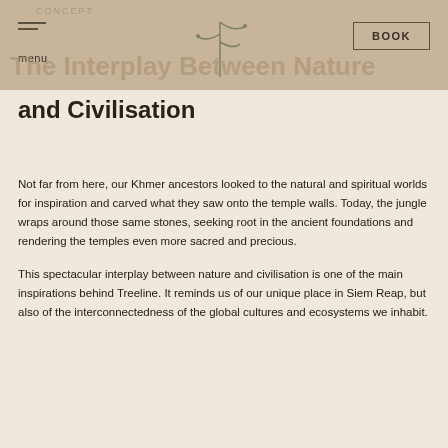CONCEPT
menu
BOOK
The Interplay Between Nature and Civilisation
Not far from here, our Khmer ancestors looked to the natural and spiritual worlds for inspiration and carved what they saw onto the temple walls. Today, the jungle wraps around those same stones, seeking root in the ancient foundations and rendering the temples even more sacred and precious.
This spectacular interplay between nature and civilisation is one of the main inspirations behind Treeline. It reminds us of our unique place in Siem Reap, but also of the interconnectedness of the global cultures and ecosystems we inhabit.